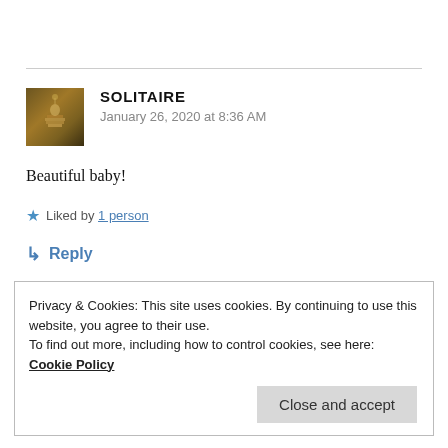[Figure (photo): Avatar thumbnail of user Solitaire — a dark golden/amber toned image showing a small figure on a stack of books]
SOLITAIRE
January 26, 2020 at 8:36 AM
Beautiful baby!
Liked by 1 person
↳ Reply
Privacy & Cookies: This site uses cookies. By continuing to use this website, you agree to their use.
To find out more, including how to control cookies, see here: Cookie Policy
Close and accept